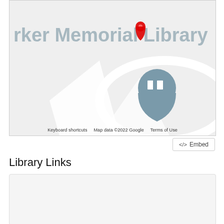[Figure (map): Google Maps screenshot showing Parker Memorial Library location with a red pin marker and a blue-gray library icon on a street map. Roads and building outlines visible.]
Keyboard shortcuts    Map data ©2022 Google    Terms of Use
</> Embed
Library Links
[Figure (infographic): Social media icons: Facebook (f), Twitter (bird), Pinterest (P) in blue]
OverDrive